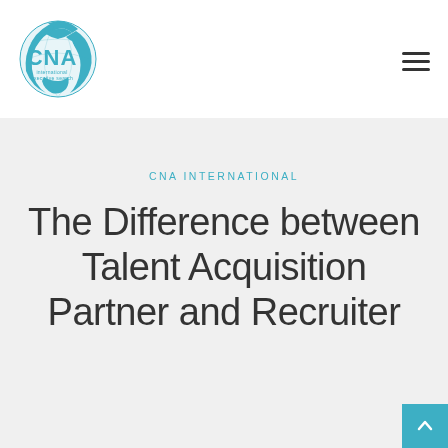[Figure (logo): CNA International Executive Search logo — globe icon with teal coloring and 'CNA international executive search' text]
CNA INTERNATIONAL
The Difference between Talent Acquisition Partner and Recruiter